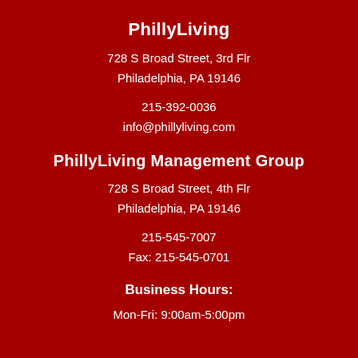PhillyLiving
728 S Broad Street, 3rd Flr
Philadelphia, PA 19146
215-392-0036
info@phillyliving.com
PhillyLiving Management Group
728 S Broad Street, 4th Flr
Philadelphia, PA 19146
215-545-7007
Fax: 215-545-0701
Business Hours:
Mon-Fri: 9:00am-5:00pm